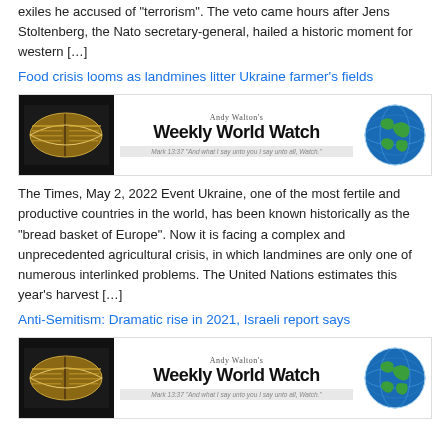exiles he accused of "terrorism". The veto came hours after Jens Stoltenberg, the Nato secretary-general, hailed a historic moment for western […]
Food crisis looms as landmines litter Ukraine farmer's fields
[Figure (illustration): Andy Walton's Weekly World Watch banner with open Bible on left and globe on right]
The Times, May 2, 2022 Event Ukraine, one of the most fertile and productive countries in the world, has been known historically as the "bread basket of Europe". Now it is facing a complex and unprecedented agricultural crisis, in which landmines are only one of numerous interlinked problems. The United Nations estimates this year's harvest […]
Anti-Semitism: Dramatic rise in 2021, Israeli report says
[Figure (illustration): Andy Walton's Weekly World Watch banner with open Bible on left and globe on right (second instance)]